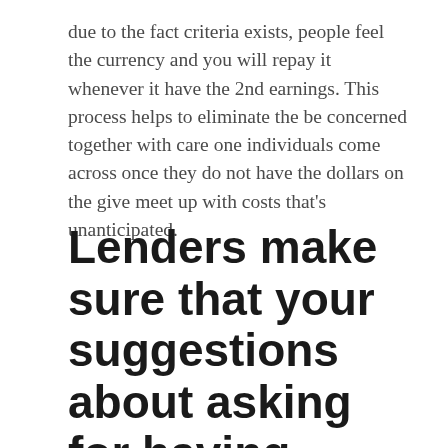due to the fact criteria exists, people feel the currency and you will repay it whenever it have the 2nd earnings. This process helps to eliminate the be concerned together with care one individuals come across once they do not have the dollars on the give meet up with costs that's unanticipated.
Lenders make sure that your suggestions about asking for having analysis like such spend-flow stubs and financial